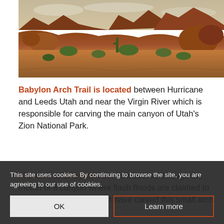[Figure (photo): Landscape photo of a desert canyon trail with red sandstone rocks, boulders, sparse desert shrubs and vegetation under a partly cloudy sky — Babylon Arch Trail area near Hurricane, Utah.]
Babylon Arch Trail is located between Hurricane and Leeds Utah and near the Virgin River which is responsible for carving the main canyon of Utah's Zion National Park.
The trail to Babylon Arch is a course through the mouth of a canyon where flash floods are claimed to have been the forces that have carved this small arch formation.
This site uses cookies. By continuing to browse the site, you are agreeing to our use of cookies.